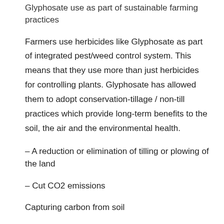Glyphosate use as part of sustainable farming practices
Farmers use herbicides like Glyphosate as part of integrated pest/weed control system. This means that they use more than just herbicides for controlling plants. Glyphosate has allowed them to adopt conservation-tillage / non-till practices which provide long-term benefits to the soil, the air and the environmental health.
– A reduction or elimination of tilling or plowing of the land
– Cut CO2 emissions
Capturing carbon from soil
Improve soil health
– Reducing the amount of water runoff and limiting erosion13